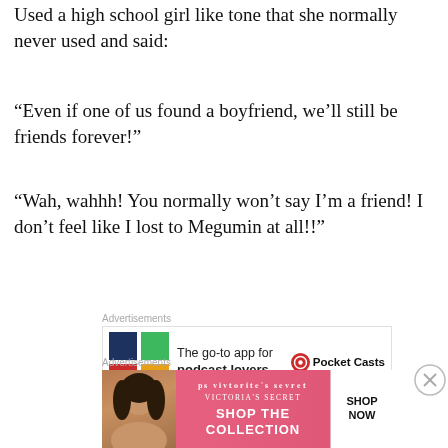Used a high school girl like tone that she normally never used and said:
“Even if one of us found a boyfriend, we’ll still be friends forever!”
“Wah, wahhh! You normally won’t say I’m a friend! I don’t feel like I lost to Megumin at all!!”
[Figure (other): Advertisement banner for Pocket Casts app: 'The go-to app for podcast lovers.' with Pocket Casts logo]
Following behind Funifura and Dodonko, Yunyun ran away too.
– Megumin brought me outside the village
[Figure (other): Advertisement banner for Victoria's Secret: 'SHOP THE COLLECTION' with SHOP NOW button]